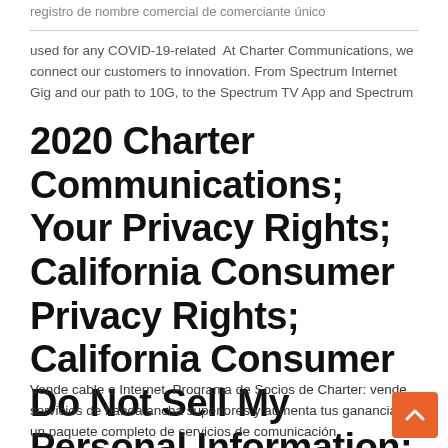registro de nombre comercial de comerciante único
used for any COVID-19-related  At Charter Communications, we connect our customers to innovation. From Spectrum Internet Gig and our path to 10G, to the Spectrum TV App and Spectrum
2020 Charter Communications; Your Privacy Rights; California Consumer Privacy Rights; California Consumer Do Not Sell My Personal Information; Policies
Vende cable e Internet. Programa de Socios de Charter: vende servicios de banda ancha superiores y aumenta tus ganancias. un paquete completo de servicios de comunicación